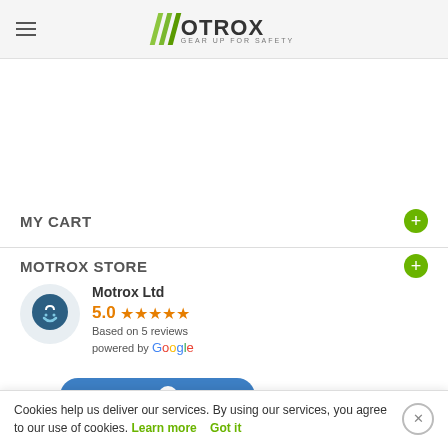OTROX — GEAR UP FOR SAFETY
MY CART
MOTROX STORE
Motrox Ltd
5.0 ★★★★★
Based on 5 reviews
powered by Google
[Figure (other): Review us on Google button]
Cookies help us deliver our services. By using our services, you agree to our use of cookies. Learn more  Got it